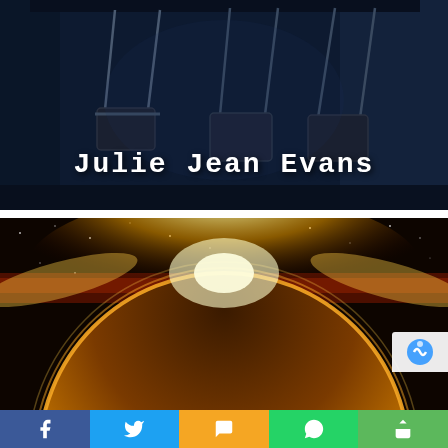[Figure (photo): Dark moody photograph of empty playground swings hanging in a dimly lit blue-toned room, with the author name 'Julie Jean Evans' in white typewriter-style font overlaid at the bottom]
[Figure (photo): Space/sci-fi image showing a large golden planet or celestial body with a bright solar flare/sunrise effect at the top against a dark starry background]
Facebook share, Twitter share, SMS share, WhatsApp share, Share buttons